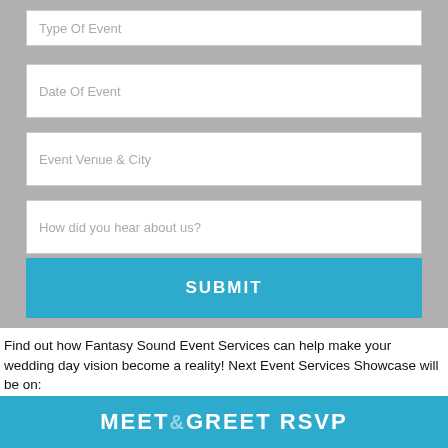Type Of Event
Date Of Event
Event Venue & City
How did you hear about us?
SUBMIT
Find out how Fantasy Sound Event Services can help make your wedding day vision become a reality! Next Event Services Showcase will be on:
Wednesday, September 14th, 2022
[Figure (other): Blue banner with MEET & GREET RSVP text in white]